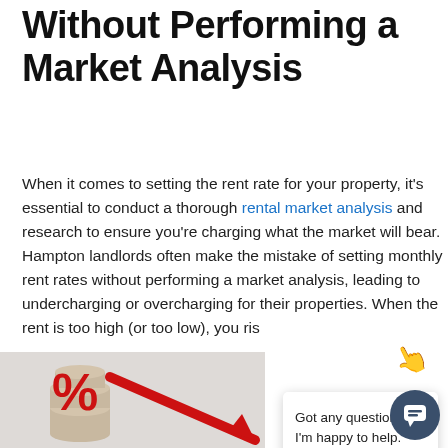Without Performing a Market Analysis
When it comes to setting the rent rate for your property, it's essential to conduct a thorough rental market analysis and research to ensure you're charging what the market will bear. Hampton landlords often make the mistake of setting monthly rent rates without performing a market analysis, leading to undercharging or overcharging for their properties. When the rent is too high (or too low), you ris
[Figure (photo): Photo showing stacked coins with a red downward arrow and a red percent sign, on a light gray background. Partially visible at bottom of page.]
Got any questions? I'm happy to help.